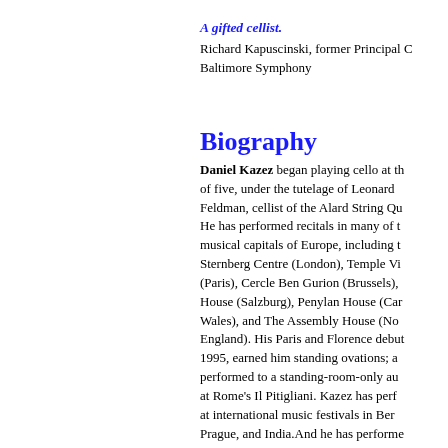A gifted cellist.
Richard Kapuscinski, former Principal C... Baltimore Symphony
Biography
Daniel Kazez began playing cello at the age of five, under the tutelage of Leonard Feldman, cellist of the Alard String Qua... He has performed recitals in many of the musical capitals of Europe, including the Sternberg Centre (London), Temple Vic... (Paris), Cercle Ben Gurion (Brussels), C... House (Salzburg), Penylan House (Card... Wales), and The Assembly House (Norv... England). His Paris and Florence debuts 1995, earned him standing ovations; an... performed to a standing-room-only aud... at Rome's Il Pitigliani. Kazez has perfo... at international music festivals in Berli... Prague, and India.And he has performe... Istanbul, Turkey in 2002.